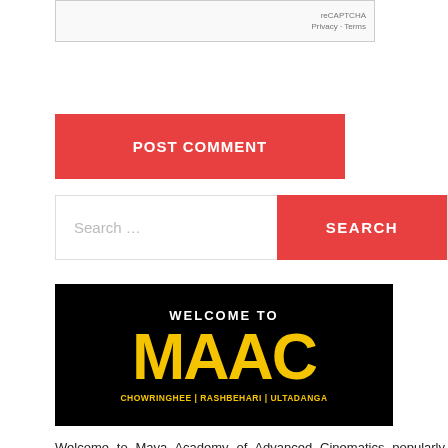[Figure (screenshot): reCAPTCHA widget with Privacy and Terms links]
POST COMMENT
Search ...
SEARCH
[Figure (logo): MAAC (Maya Academy of Advanced Cinematics) banner with black background, WELCOME TO in white, MAAC in large yellow text, and CHOWRINGHEE | RASHBEHARI | ULTADANGA in yellow below]
Welcome to Maya Academy of Advanced Cinematics popularly known as MAAC. We are well equipped with a high-end experienced training team who expertise in 3D Animation, 2D Animation, VFX, Film Making, Multimedia